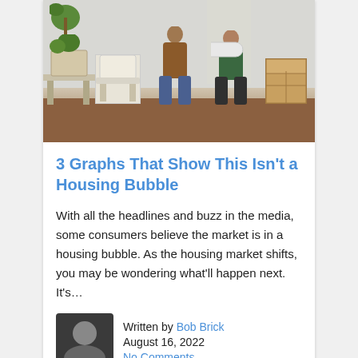[Figure (photo): Two people moving into a new home, one holding a large roll of paper/bubble wrap in a living room with chairs, plants, and moving boxes]
3 Graphs That Show This Isn't a Housing Bubble
With all the headlines and buzz in the media, some consumers believe the market is in a housing bubble. As the housing market shifts, you may be wondering what'll happen next. It's…
Written by Bob Brick
August 16, 2022
No Comments